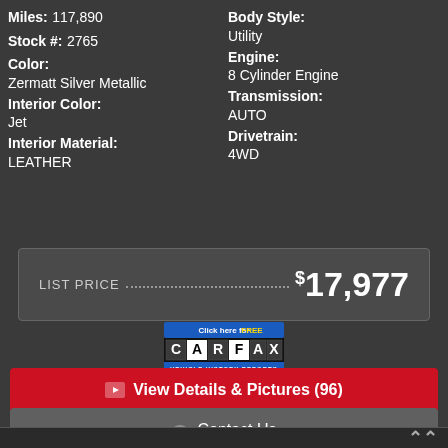Miles: 117,890
Stock #: 2765
Color:
Zermatt Silver Metallic
Interior Color:
Jet
Interior Material:
LEATHER
Body Style:
Utility
Engine:
8 Cylinder Engine
Transmission:
AUTO
Drivetrain:
4WD
LIST PRICE . . . . . . . . . . . . . . . . . . . . . . . . . . . . . $17,977
[Figure (logo): CARFAX Vehicle History Reports - Click here for FREE]
View Details & Pictures (96)
Contact Us